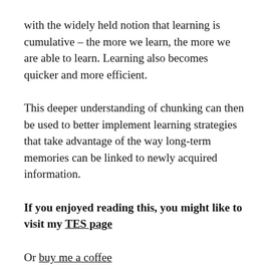with the widely held notion that learning is cumulative – the more we learn, the more we are able to learn. Learning also becomes quicker and more efficient.
This deeper understanding of chunking can then be used to better implement learning strategies that take advantage of the way long-term memories can be linked to newly acquired information.
If you enjoyed reading this, you might like to visit my TES page
Or buy me a coffee